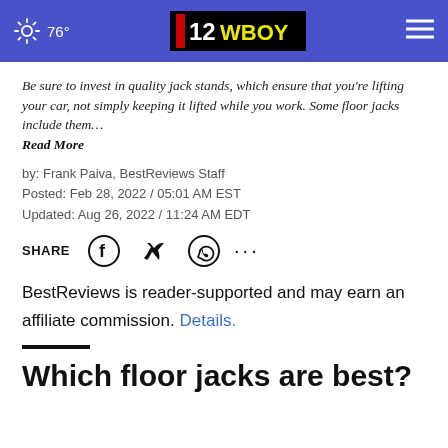76° | 12WBOY
Be sure to invest in quality jack stands, which ensure that you're lifting your car, not simply keeping it lifted while you work. Some floor jacks include them… Read More
by: Frank Paiva, BestReviews Staff
Posted: Feb 28, 2022 / 05:01 AM EST
Updated: Aug 26, 2022 / 11:24 AM EDT
SHARE
BestReviews is reader-supported and may earn an affiliate commission. Details.
Which floor jacks are best?